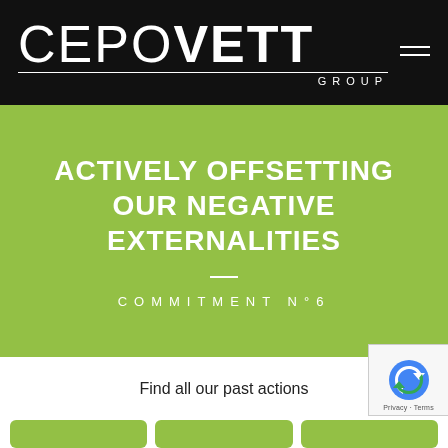CEPOVETT GROUP
ACTIVELY OFFSETTING OUR NEGATIVE EXTERNALITIES
COMMITMENT N°6
Find all our past actions